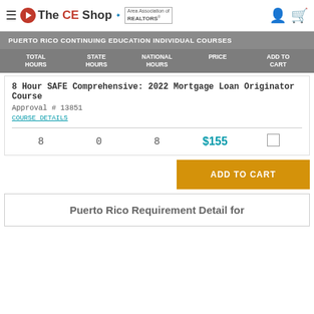The CE Shop | Puerto Rico Continuing Education Individual Courses
PUERTO RICO CONTINUING EDUCATION INDIVIDUAL COURSES
| TOTAL HOURS | STATE HOURS | NATIONAL HOURS | PRICE | ADD TO CART |
| --- | --- | --- | --- | --- |
| 8 Hour SAFE Comprehensive: 2022 Mortgage Loan Originator Course
Approval # 13851
COURSE DETAILS |  |  |  |  |
| 8 | 0 | 8 | $155 | ☐ |
ADD TO CART
Puerto Rico Requirement Detail for